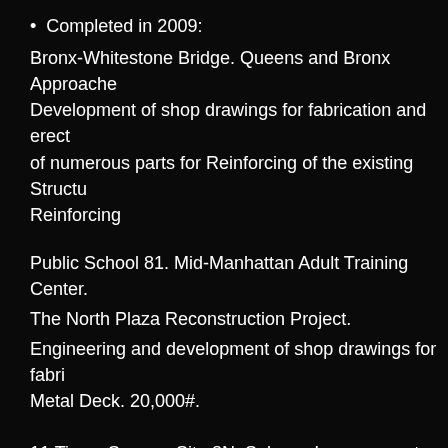Completed in 2009:
Bronx-Whitestone Bridge. Queens and Bronx Approaches. Development of shop drawings for fabrication and erection of numerous parts for Reinforcing of the existing Structure. Reinforcing
Public School 81. Mid-Manhattan Adult Training Center.
The North Plaza Reconstruction Project.
Engineering and development of shop drawings for fabrication Metal Deck. 20,000#.
11 Times Square, Site 8N, Subway Improvements Project. Development of shop drawings for fabrication and erection
Completed in 2008:
20 story new commercial and residential building, 38 De... Development of shop drawings for fabrication and erection